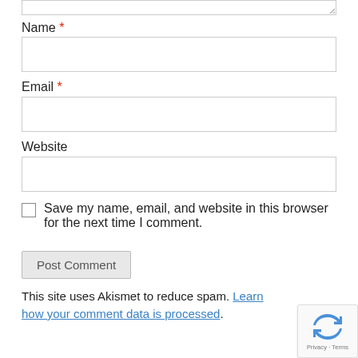Name *
[Figure (other): Empty Name text input field]
Email *
[Figure (other): Empty Email text input field]
Website
[Figure (other): Empty Website text input field]
Save my name, email, and website in this browser for the next time I comment.
[Figure (other): Post Comment button]
This site uses Akismet to reduce spam. Learn how your comment data is processed.
[Figure (other): reCAPTCHA badge with Privacy and Terms links]